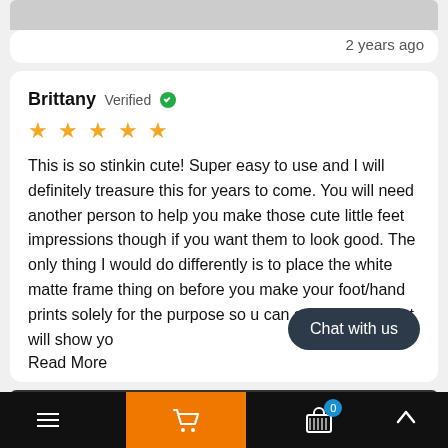[Figure (photo): Partial product image at top of page, cropped]
2 years ago
Brittany Verified
[Figure (other): 5 gold star rating]
This is so stinkin cute! Super easy to use and I will definitely treasure this for years to come. You will need another person to help you make those cute little feet impressions though if you want them to look good. The only thing I would do differently is to place the white matte frame thing on before you make your foot/hand prints solely for the purpose so u can see the area that will show yo
Read More
[Figure (photo): Partial product photo at bottom of review]
Chat with us
Bottom navigation bar with menu, cart, basket (0), and up arrow